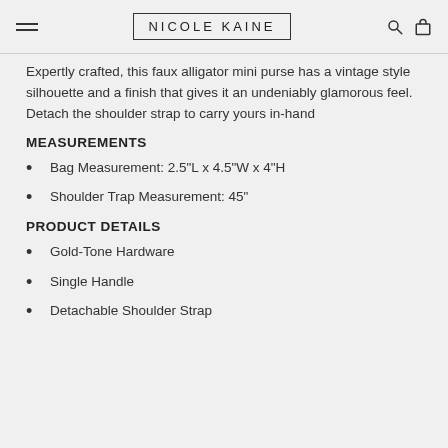NICOLE KAINE
Expertly crafted, this faux alligator mini purse has a vintage style silhouette and a finish that gives it an undeniably glamorous feel. Detach the shoulder strap to carry yours in-hand
MEASUREMENTS
Bag Measurement: 2.5"L x 4.5"W x 4"H
Shoulder Trap Measurement: 45"
PRODUCT DETAILS
Gold-Tone Hardware
Single Handle
Detachable Shoulder Strap